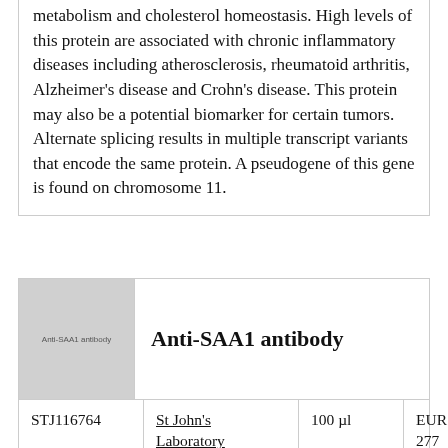metabolism and cholesterol homeostasis. High levels of this protein are associated with chronic inflammatory diseases including atherosclerosis, rheumatoid arthritis, Alzheimer's disease and Crohn's disease. This protein may also be a potential biomarker for certain tumors. Alternate splicing results in multiple transcript variants that encode the same protein. A pseudogene of this gene is found on chromosome 11.
[Figure (photo): Placeholder product image labeled 'Anti-SAA1 antibody']
Anti-SAA1 antibody
| Catalog | Supplier | Quantity | Price |
| --- | --- | --- | --- |
| STJ116764 | St John's Laboratory | 100 µl | EUR 277 |
Description: This gene encodes a member of the serum amyloid A family of apolipoproteins. The